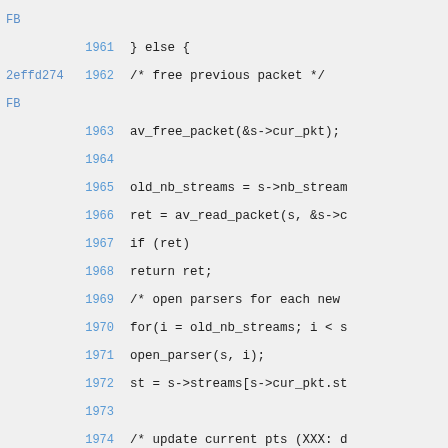Source code viewer showing lines 1961-1975 of a C source file with commit annotations FB and 2effd274FB
FB  1961  } else {
2effd274 FB  1962  /* free previous packet */
1963  av_free_packet(&s->cur_pkt);
1964  (blank)
1965  old_nb_streams = s->nb_stream
1966  ret = av_read_packet(s, &s->c
1967  if (ret)
1968      return ret;
1969  /* open parsers for each new
1970  for(i = old_nb_streams; i < s
1971      open_parser(s, i);
1972  st = s->streams[s->cur_pkt.st
1973  (blank)
1974  /* update current pts (XXX: d
1975      use current pts if none gi